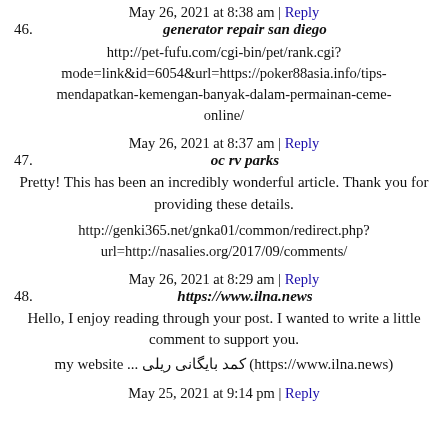May 26, 2021 at 8:38 am | Reply
46. generator repair san diego
http://pet-fufu.com/cgi-bin/pet/rank.cgi?mode=link&id=6054&url=https://poker88asia.info/tips-mendapatkan-kemengan-banyak-dalam-permainan-ceme-online/
May 26, 2021 at 8:37 am | Reply
47. oc rv parks
Pretty! This has been an incredibly wonderful article. Thank you for providing these details.
http://genki365.net/gnka01/common/redirect.php?url=http://nasalies.org/2017/09/comments/
May 26, 2021 at 8:29 am | Reply
48. https://www.ilna.news
Hello, I enjoy reading through your post. I wanted to write a little comment to support you.
my website ... کمد بایگانی ریلی (https://www.ilna.news)
May 25, 2021 at 9:14 pm | Reply